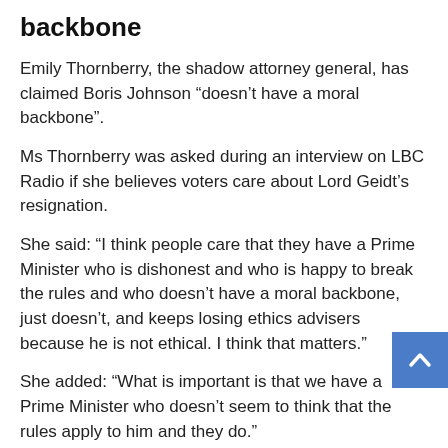backbone
Emily Thornberry, the shadow attorney general, has claimed Boris Johnson “doesn’t have a moral backbone”.
Ms Thornberry was asked during an interview on LBC Radio if she believes voters care about Lord Geidt’s resignation.
She said: “I think people care that they have a Prime Minister who is dishonest and who is happy to break the rules and who doesn’t have a moral backbone, just doesn’t, and keeps losing ethics advisers because he is not ethical. I think that matters.”
She added: “What is important is that we have a Prime Minister who doesn’t seem to think that the rules apply to him and they do.”
08:36 AM